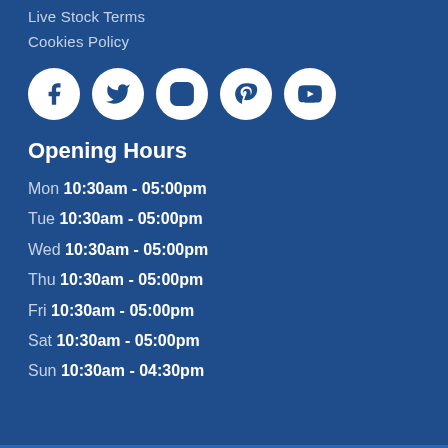Live Stock Terms
Cookies Policy
[Figure (illustration): Row of five white social media icons (Facebook, Twitter, Instagram, Pinterest, YouTube) on circular white backgrounds against blue background]
Opening Hours
Mon 10:30am - 05:00pm
Tue 10:30am - 05:00pm
Wed 10:30am - 05:00pm
Thu 10:30am - 05:00pm
Fri 10:30am - 05:00pm
Sat 10:30am - 05:00pm
Sun 10:30am - 04:30pm